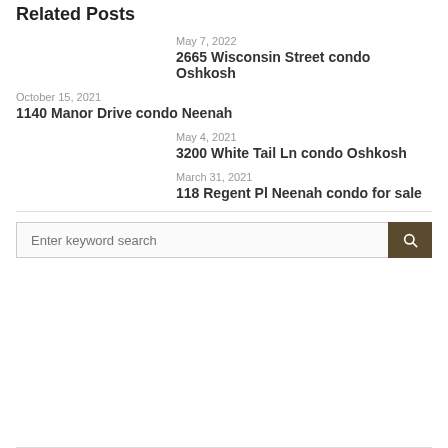Related Posts
May 7, 2022
2665 Wisconsin Street condo Oshkosh
October 15, 2021
1140 Manor Drive condo Neenah
May 4, 2021
3200 White Tail Ln condo Oshkosh
March 31, 2021
118 Regent Pl Neenah condo for sale